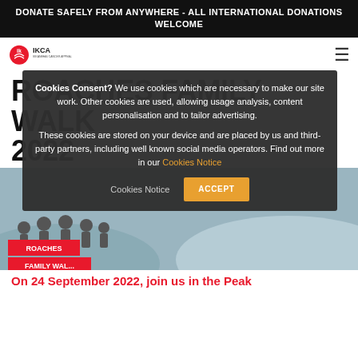DONATE SAFELY FROM ANYWHERE - ALL INTERNATIONAL DONATIONS WELCOME
[Figure (logo): IKCA - Ikkanbhai Cancer Appeal logo with red circular icon]
ROACHES FAMILY WALK 2022
[Figure (photo): Group of people outdoors at Roaches Family Walk event, with red banner overlay reading ROACHES FAMILY WALK]
On 24 September 2022, join us in the Peak
Cookies Consent? We use cookies which are necessary to make our site work. Other cookies are used, allowing usage analysis, content personalisation and to tailor advertising.
These cookies are stored on your device and are placed by us and third-party partners, including well known social media operators. Find out more in our Cookies Notice
ACCEPT